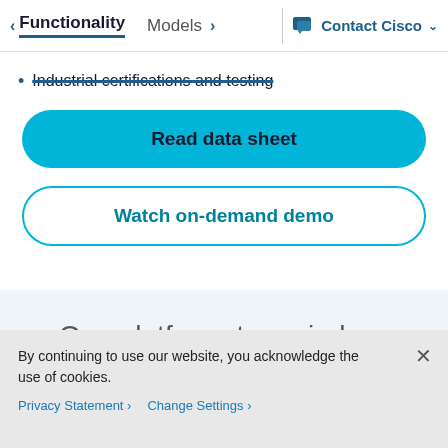< Functionality   Models >   Contact Cisco ˅
Industrial certifications and testing
Read data sheet
Watch on-demand demo
One platform, two wireless technologies
By continuing to use our website, you acknowledge the use of cookies.
Privacy Statement >   Change Settings >